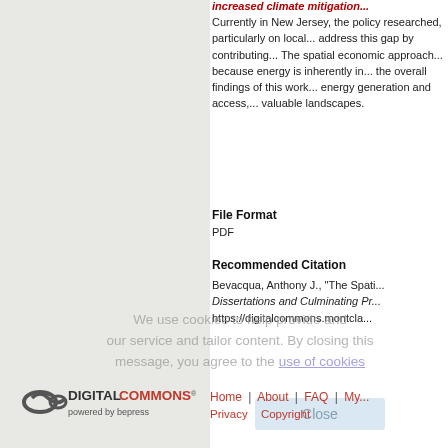increased climate mitigation...
Currently in New Jersey, the po... researched, particularly on loc... address this gap by contributi... The spatial economic approac... because energy is inherently i... the overall findings of this wor... energy generation and access,... valuable landscapes.
File Format
PDF
Recommended Citation
Bevacqua, Anthony J., "The Spati... Dissertations and Culminating Pr... https://digitalcommons.montcla...
We use cookies to help provide and... our service and tailor content. By closing this message, you agree to the use of cookies
[Figure (logo): DigitalCommons powered by bepress logo]
Home | About | FAQ | My... Privacy   Copyright